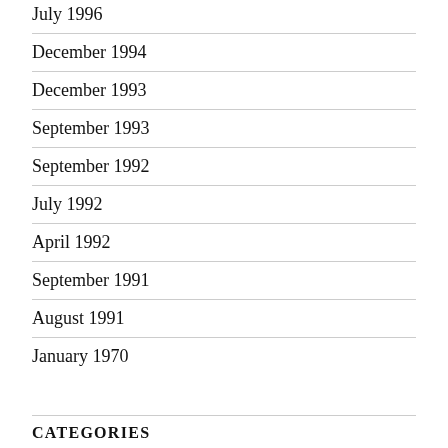July 1996
December 1994
December 1993
September 1993
September 1992
July 1992
April 1992
September 1991
August 1991
January 1970
CATEGORIES